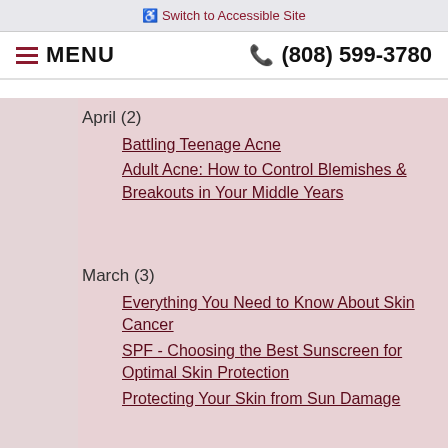Switch to Accessible Site
MENU   (808) 599-3780
April (2)
Battling Teenage Acne
Adult Acne: How to Control Blemishes & Breakouts in Your Middle Years
March (3)
Everything You Need to Know About Skin Cancer
SPF - Choosing the Best Sunscreen for Optimal Skin Protection
Protecting Your Skin from Sun Damage
2015
July (1)